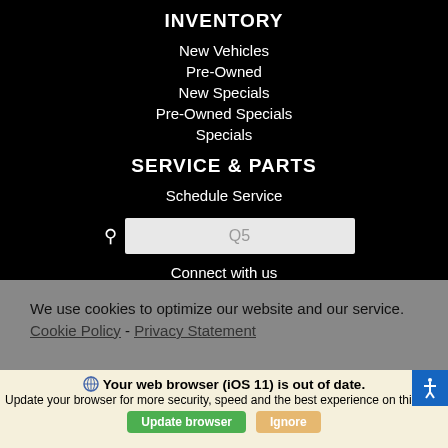INVENTORY
New Vehicles
Pre-Owned
New Specials
Pre-Owned Specials
Specials
SERVICE & PARTS
Schedule Service
Q5
Connect with us
We use cookies to optimize our website and our service.  Cookie Policy - Privacy Statement
Your web browser (iOS 11) is out of date. Update your browser for more security, speed and the best experience on this site.
Update browser
Ignore